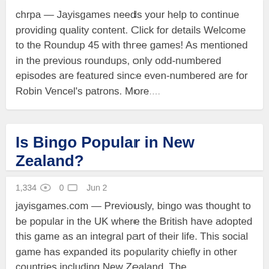chrpa — Jayisgames needs your help to continue providing quality content. Click for details Welcome to the Roundup 45 with three games! As mentioned in the previous roundups, only odd-numbered episodes are featured since even-numbered are for Robin Vencel's patrons. More....
Is Bingo Popular in New Zealand?
1,334  0  Jun 2
jayisgames.com — Previously, bingo was thought to be popular in the UK where the British have adopted this game as an integral part of their life. This social game has expanded its popularity chiefly in other countries including New Zealand. The...